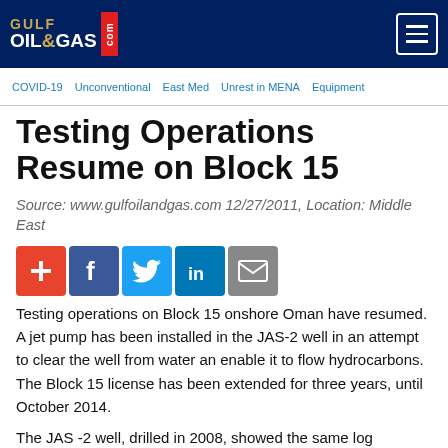GULF OIL & GAS .com
COVID-19  Unconventional  East Med  Unrest in MENA  Equipment
Testing Operations Resume on Block 15
Source: www.gulfoilandgas.com 12/27/2011, Location: Middle East
[Figure (other): Social sharing icons: add/plus (red), Facebook (blue), Twitter (light blue), LinkedIn (dark blue), Email (gray)]
Testing operations on Block 15 onshore Oman have resumed. A jet pump has been installed in the JAS-2 well in an attempt to clear the well from water an enable it to flow hydrocarbons. The Block 15 license has been extended for three years, until October 2014.
The JAS -2 well, drilled in 2008, showed the same log response while drilling as the JAS-1 drilled in 2007. Whereas the JAS-1 well flowed reasonable quantities of gas and condensate, the